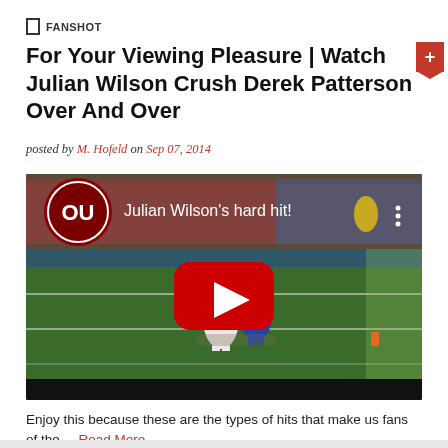FANSHOT
For Your Viewing Pleasure | Watch Julian Wilson Crush Derek Patterson Over And Over
posted by M. Hofeld on Sep 07, 2014
[Figure (screenshot): YouTube video thumbnail showing a football play on field with OU logo and title 'Julian Wilson's hard hit!' with YouTube play button overlay]
Enjoy this because these are the types of hits that make us fans of the ... Read More